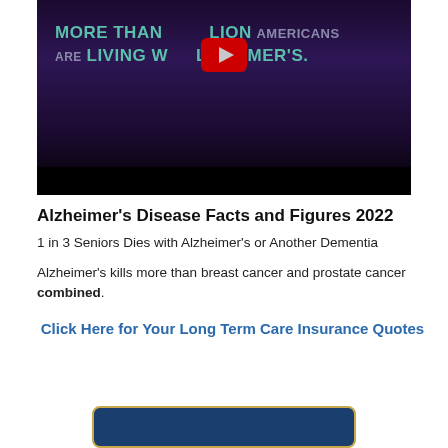[Figure (screenshot): YouTube video thumbnail showing text 'MORE THAN [YouTube play button] LION AMERICANS ARE LIVING W[ith A]LZHEIMER'S.' in teal/white text on dark purple background with black bar at bottom]
Alzheimer's Disease Facts and Figures 2022
1 in 3 Seniors Dies with Alzheimer's or Another Dementia
Alzheimer's kills more than breast cancer and prostate cancer combined.
Click Here for Your Long Term Care Insurance Quotes
[Figure (other): Dark blue rounded rectangle banner with gold border at bottom of page]